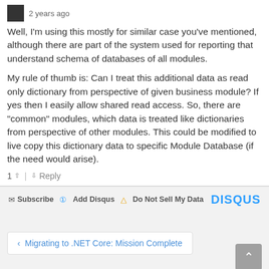2 years ago
Well, I'm using this mostly for similar case you've mentioned, although there are part of the system used for reporting that understand schema of databases of all modules.

My rule of thumb is: Can I treat this additional data as read only dictionary from perspective of given business module? If yes then I easily allow shared read access. So, there are "common" modules, which data is treated like dictionaries from perspective of other modules. This could be modified to live copy this dictionary data to specific Module Database (if the need would arise).
1 ∧ | ∨ Reply
Subscribe  Add Disqus  Do Not Sell My Data  DISQUS
‹ Migrating to .NET Core: Mission Complete